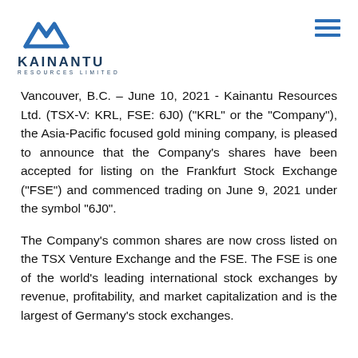[Figure (logo): Kainantu Resources Limited logo with mountain/chevron icon in blue and company name]
Vancouver, B.C. – June 10, 2021 - Kainantu Resources Ltd. (TSX-V: KRL, FSE: 6J0) ("KRL" or the "Company"), the Asia-Pacific focused gold mining company, is pleased to announce that the Company's shares have been accepted for listing on the Frankfurt Stock Exchange ("FSE") and commenced trading on June 9, 2021 under the symbol "6J0".
The Company's common shares are now cross listed on the TSX Venture Exchange and the FSE. The FSE is one of the world's leading international stock exchanges by revenue, profitability, and market capitalization and is the largest of Germany's stock exchanges.